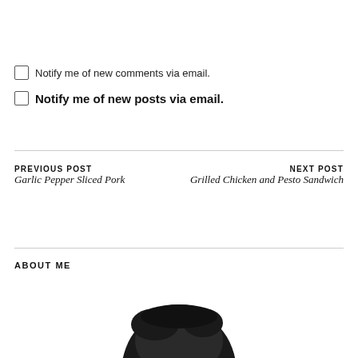Notify me of new comments via email.
Notify me of new posts via email.
PREVIOUS POST
Garlic Pepper Sliced Pork
NEXT POST
Grilled Chicken and Pesto Sandwich
ABOUT ME
[Figure (photo): Partial photo of a person with dark hair, cropped at the bottom of the page.]